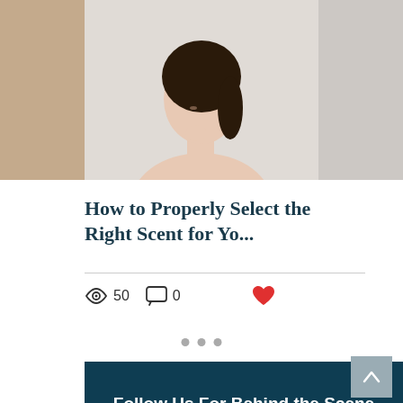[Figure (photo): Partial view of a woman touching her neck/chin, studio background, cropped blog post thumbnail image]
How to Properly Select the Right Scent for Yo...
50 views  0 comments  like
Follow Us For Behind the Scene Footage @FreelanceFormulations